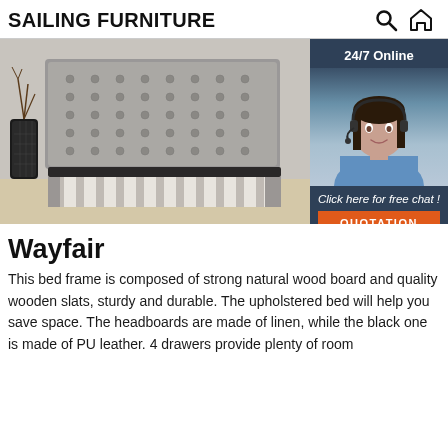SAILING FURNITURE
[Figure (photo): Upholstered bed frame with tall tufted headboard, white wooden slats, displayed in a room with a decorative vase. Next to it is a 24/7 Online chat widget showing a female customer service agent with headset, 'Click here for free chat!' text, and an orange QUOTATION button.]
Wayfair
This bed frame is composed of strong natural wood board and quality wooden slats, sturdy and durable. The upholstered bed will help you save space. The headboards are made of linen, while the black one is made of PU leather. 4 drawers provide plenty of room